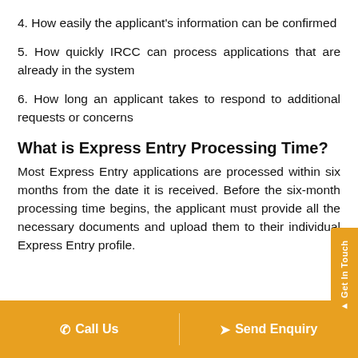4. How easily the applicant's information can be confirmed
5. How quickly IRCC can process applications that are already in the system
6. How long an applicant takes to respond to additional requests or concerns
What is Express Entry Processing Time?
Most Express Entry applications are processed within six months from the date it is received. Before the six-month processing time begins, the applicant must provide all the necessary documents and upload them to their individual Express Entry profile.
Call Us   |   Send Enquiry